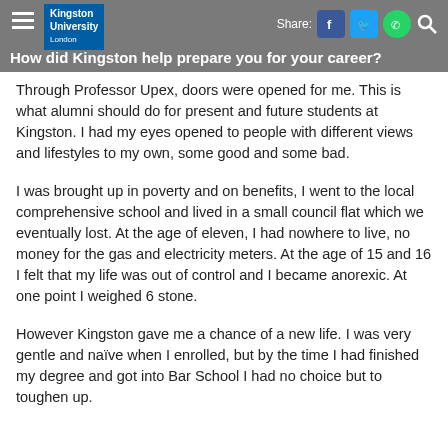Kingston University London | How did Kingston help prepare you for your career?
Through Professor Upex, doors were opened for me. This is what alumni should do for present and future students at Kingston. I had my eyes opened to people with different views and lifestyles to my own, some good and some bad.
I was brought up in poverty and on benefits, I went to the local comprehensive school and lived in a small council flat which we eventually lost. At the age of eleven, I had nowhere to live, no money for the gas and electricity meters. At the age of 15 and 16 I felt that my life was out of control and I became anorexic. At one point I weighed 6 stone.
However Kingston gave me a chance of a new life. I was very gentle and naïve when I enrolled, but by the time I had finished my degree and got into Bar School I had no choice but to toughen up.